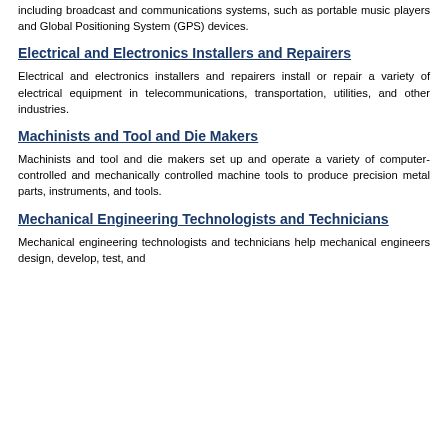including broadcast and communications systems, such as portable music players and Global Positioning System (GPS) devices.
Electrical and Electronics Installers and Repairers
Electrical and electronics installers and repairers install or repair a variety of electrical equipment in telecommunications, transportation, utilities, and other industries.
Machinists and Tool and Die Makers
Machinists and tool and die makers set up and operate a variety of computer-controlled and mechanically controlled machine tools to produce precision metal parts, instruments, and tools.
Mechanical Engineering Technologists and Technicians
Mechanical engineering technologists and technicians help mechanical engineers design, develop, test, and manufacture mechanical devices, including tools, engines, and machines.